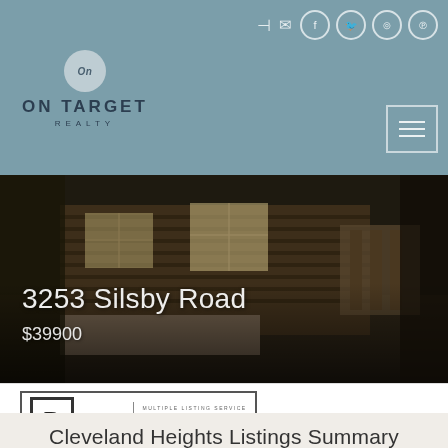ON TARGET REALTY
[Figure (photo): Exterior photo of a house at 3253 Silsby Road, dark siding, visible windows]
3253 Silsby Road
$39900
[Figure (logo): REALTOR MLS logo badge]
Cleveland Heights Listings Summary